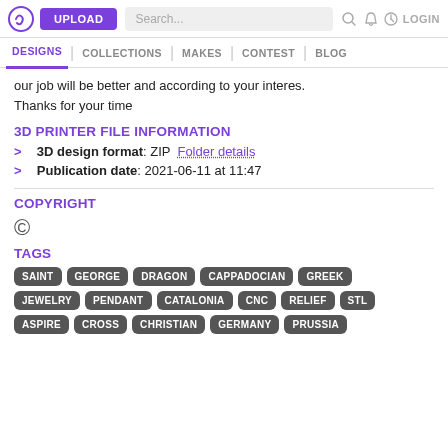UPLOAD | Search... | LOGIN
DESIGNS | COLLECTIONS | MAKES | CONTEST | BLOG
our job will be better and according to your interes.
Thanks for your time
3D PRINTER FILE INFORMATION
3D design format: ZIP  Folder details
Publication date: 2021-06-11 at 11:47
COPYRIGHT
©
TAGS
SAINT
GEORGE
DRAGON
CAPPADOCIAN
GREEK
JEWELRY
PENDANT
CATALONIA
CNC
RELIEF
STL
ASPIRE
CROSS
CHRISTIAN
GERMANY
PRUSSIA